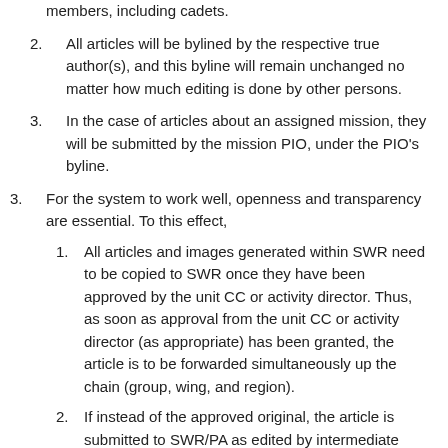members, including cadets.
2. All articles will be bylined by the respective true author(s), and this byline will remain unchanged no matter how much editing is done by other persons.
3. In the case of articles about an assigned mission, they will be submitted by the mission PIO, under the PIO's byline.
3. For the system to work well, openness and transparency are essential. To this effect,
1. All articles and images generated within SWR need to be copied to SWR once they have been approved by the unit CC or activity director. Thus, as soon as approval from the unit CC or activity director (as appropriate) has been granted, the article is to be forwarded simultaneously up the chain (group, wing, and region).
2. If instead of the approved original, the article is submitted to SWR/PA as edited by intermediate